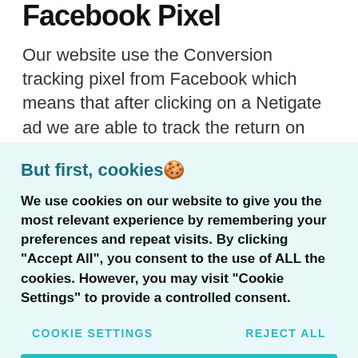Facebook Pixel
Our website use the Conversion tracking pixel from Facebook which means that after clicking on a Netigate ad we are able to track the return on investment and pass user defined and application-specific events to Facebook for reporting and
But first, cookies 🍪
We use cookies on our website to give you the most relevant experience by remembering your preferences and repeat visits. By clicking "Accept All", you consent to the use of ALL the cookies. However, you may visit "Cookie Settings" to provide a controlled consent.
COOKIE SETTINGS
REJECT ALL
ACCEPT ALL